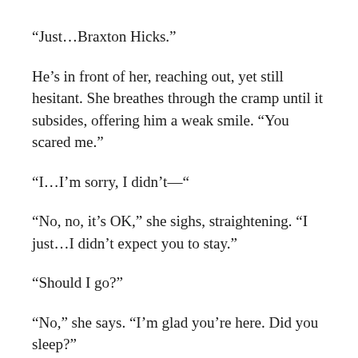“Just…Braxton Hicks.”
He’s in front of her, reaching out, yet still hesitant. She breathes through the cramp until it subsides, offering him a weak smile. “You scared me.”
“I…I’m sorry, I didn’t—”
“No, no, it’s OK,” she sighs, straightening. “I just…I didn’t expect you to stay.”
“Should I go?”
“No,” she says. “I’m glad you’re here. Did you sleep?”